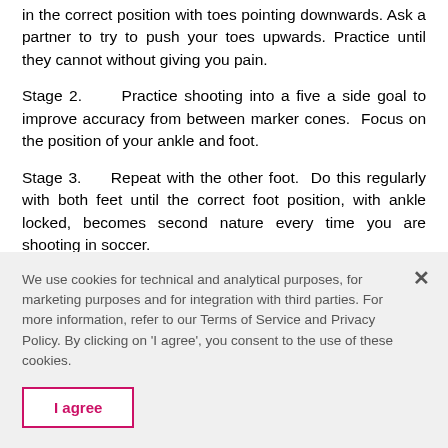in the correct position with toes pointing downwards. Ask a partner to try to push your toes upwards. Practice until they cannot without giving you pain.
Stage 2.    Practice shooting into a five a side goal to improve accuracy from between marker cones.  Focus on the position of your ankle and foot.
Stage 3.    Repeat with the other foot.  Do this regularly with both feet until the correct foot position, with ankle locked, becomes second nature every time you are shooting in soccer.
We use cookies for technical and analytical purposes, for marketing purposes and for integration with third parties. For more information, refer to our Terms of Service and Privacy Policy. By clicking on 'I agree', you consent to the use of these cookies.
I agree